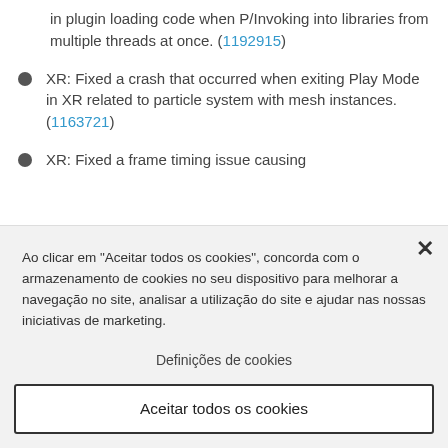in plugin loading code when P/Invoking into libraries from multiple threads at once. (1192915)
XR: Fixed a crash that occurred when exiting Play Mode in XR related to particle system with mesh instances. (1163721)
XR: Fixed a frame timing issue causing
Ao clicar em "Aceitar todos os cookies", concorda com o armazenamento de cookies no seu dispositivo para melhorar a navegação no site, analisar a utilização do site e ajudar nas nossas iniciativas de marketing.
Definições de cookies
Aceitar todos os cookies